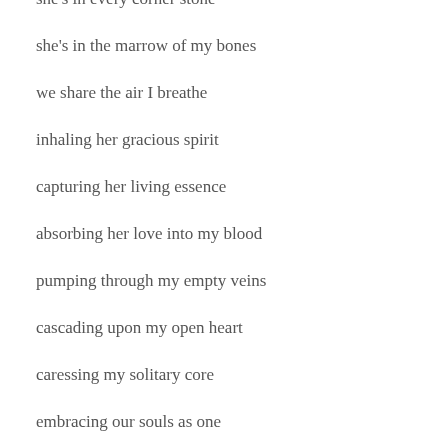she's in every corner stone
she's in the marrow of my bones
we share the air I breathe
inhaling her gracious spirit
capturing her living essence
absorbing her love into my blood
pumping through my empty veins
cascading upon my open heart
caressing my solitary core
embracing our souls as one